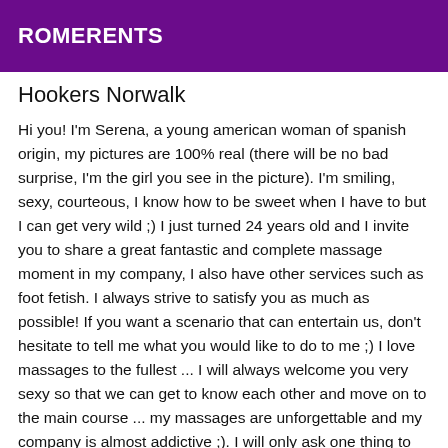ROMERENTS
Hookers Norwalk
Hi you! I'm Serena, a young american woman of spanish origin, my pictures are 100% real (there will be no bad surprise, I'm the girl you see in the picture). I'm smiling, sexy, courteous, I know how to be sweet when I have to but I can get very wild ;) I just turned 24 years old and I invite you to share a great fantastic and complete massage moment in my company, I also have other services such as foot fetish. I always strive to satisfy you as much as possible! If you want a scenario that can entertain us, don't hesitate to tell me what you would like to do to me ;) I love massages to the fullest ... I will always welcome you very sexy so that we can get to know each other and move on to the main course ... my massages are unforgettable and my company is almost addictive ;). I will only ask one thing to my partner, it is to have a good hygiene ... Call me for an appointment 30